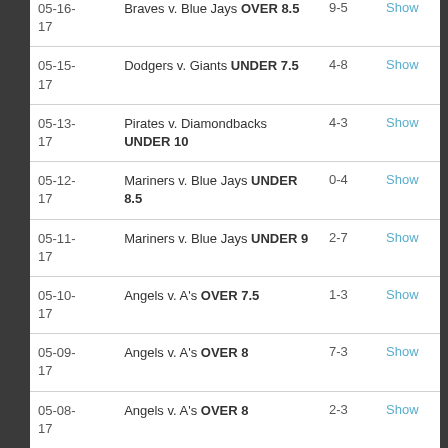| Date | Match | Score |  |
| --- | --- | --- | --- |
| 05-16-17 | Braves v. Blue Jays OVER 8.5 | 9-5 | Show |
| 05-15-17 | Dodgers v. Giants UNDER 7.5 | 4-8 | Show |
| 05-13-17 | Pirates v. Diamondbacks UNDER 10 | 4-3 | Show |
| 05-12-17 | Mariners v. Blue Jays UNDER 8.5 | 0-4 | Show |
| 05-11-17 | Mariners v. Blue Jays UNDER 9 | 2-7 | Show |
| 05-10-17 | Angels v. A's OVER 7.5 | 1-3 | Show |
| 05-09-17 | Angels v. A's OVER 8 | 7-3 | Show |
| 05-08-17 | Angels v. A's OVER 8 | 2-3 | Show |
| 05-07- | Diamondbacks v. Rockies | 2-5 | Show |